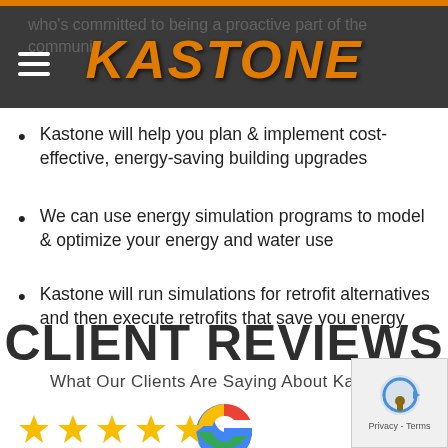KASTONE
who's committed to being a proactive part of the community.
Kastone will help you plan & implement cost-effective, energy-saving building upgrades
We can use energy simulation programs to model & optimize your energy and water use
Kastone will run simulations for retrofit alternatives and then execute retrofits that save you energy
CLIENT REVIEWS
What Our Clients Are Saying About Kastone
[Figure (logo): Google logo (multicolor G)]
[Figure (logo): reCAPTCHA logo with Privacy - Terms text]